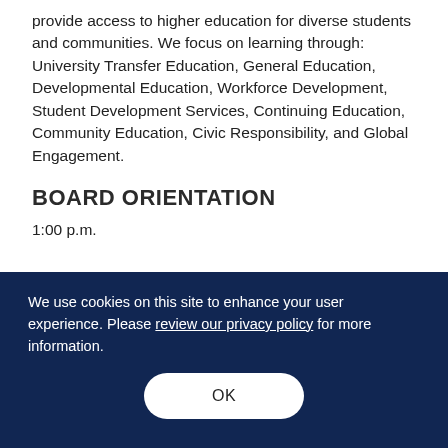provide access to higher education for diverse students and communities. We focus on learning through: University Transfer Education, General Education, Developmental Education, Workforce Development, Student Development Services, Continuing Education, Community Education, Civic Responsibility, and Global Engagement.
BOARD ORIENTATION
1:00 p.m.
We use cookies on this site to enhance your user experience. Please review our privacy policy for more information.
OK